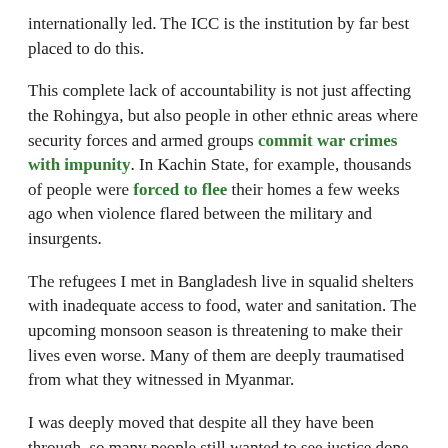internationally led. The ICC is the institution by far best placed to do this.
This complete lack of accountability is not just affecting the Rohingya, but also people in other ethnic areas where security forces and armed groups commit war crimes with impunity. In Kachin State, for example, thousands of people were forced to flee their homes a few weeks ago when violence flared between the military and insurgents.
The refugees I met in Bangladesh live in squalid shelters with inadequate access to food, water and sanitation. The upcoming monsoon season is threatening to make their lives even worse. Many of them are deeply traumatised from what they witnessed in Myanmar.
I was deeply moved that despite all they have been through, so many people still wanted to see justice done more than anything else. The Security Council has an opportunity now to make this reality, it is one that cannot be missed.